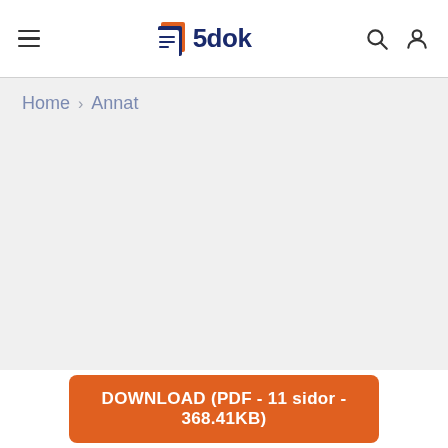5dok
Home > Annat
DOWNLOAD (PDF - 11 sidor - 368.41KB)